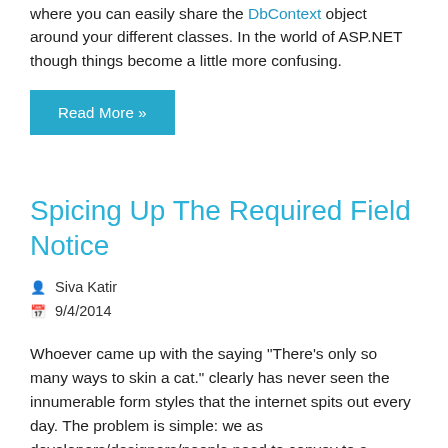where you can easily share the DbContext object around your different classes. In the world of ASP.NET though things become a little more confusing.
Read More »
Spicing Up The Required Field Notice
Siva Katir
9/4/2014
Whoever came up with the saying "There's only so many ways to skin a cat." clearly has never seen the innumerable form styles that the internet spits out every day. The problem is simple: we as developers/designers/people need to convey to a